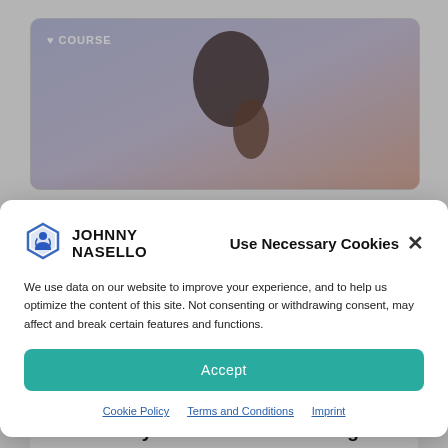[Figure (photo): Yoga person praying hands pose, blurred background, with COURSE badge top left]
[Figure (photo): Yoga person stretching pose with JOHNNY NASELLO watermark text overlay]
Pranayama Teacher Coaching
Use Necessary Cookies
[Figure (logo): Johnny Nasello hexagonal logo with person icon inside]
JOHNNY
NASELLO
We use data on our website to improve your experience, and to help us optimize the content of this site. Not consenting or withdrawing consent, may affect and break certain features and functions.
Accept
Cookie Policy
Terms and Conditions
Imprint